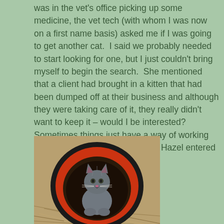was in the vet's office picking up some medicine, the vet tech (with whom I was now on a first name basis) asked me if I was going to get another cat.  I said we probably needed to start looking for one, but I just couldn't bring myself to begin the search.  She mentioned that a client had brought in a kitten that had been dumped off at their business and although they were taking care of it, they really didn't want to keep it – would I be interested?  Sometimes things just have a way of working out and less than 24 hours later, Hazel entered our lives.
[Figure (photo): A gray kitten sitting inside a red and black collapsible circular tunnel toy, on a straw/hay covered ground.]